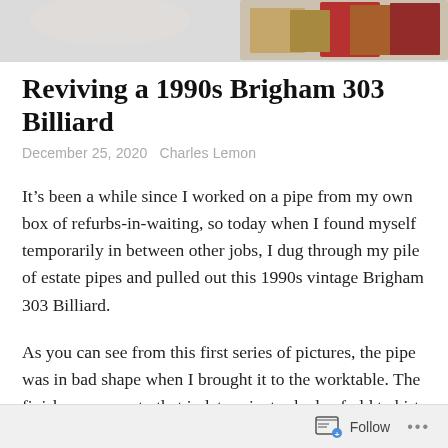[Figure (photo): Partial header image showing books and objects on a light background, cropped at top of page]
Reviving a 1990s Brigham 303 Billiard
December 25, 2020   Charles Lemon
It’s been a while since I worked on a pipe from my own box of refurbs-in-waiting, so today when I found myself temporarily in between other jobs, I dug through my pile of estate pipes and pulled out this 1990s vintage Brigham 303 Billiard.
As you can see from this first series of pictures, the pipe was in bad shape when I brought it to the worktable. The finish was worn to that indeterminate shade of old t-shirts that have seen better days and the briar looked dry, dirty and neglected. The stem was
Follow •••